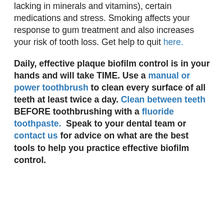lacking in minerals and vitamins), certain medications and stress. Smoking affects your response to gum treatment and also increases your risk of tooth loss. Get help to quit here.
Daily, effective plaque biofilm control is in your hands and will take TIME. Use a manual or power toothbrush to clean every surface of all teeth at least twice a day. Clean between teeth BEFORE toothbrushing with a fluoride toothpaste. Speak to your dental team or contact us for advice on what are the best tools to help you practice effective biofilm control.